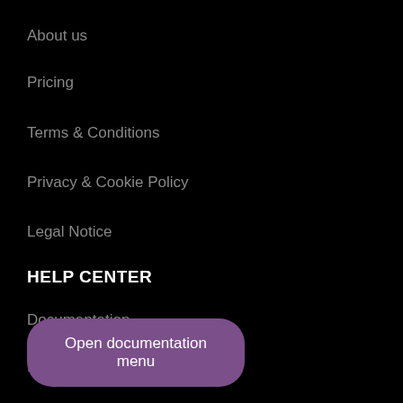About us
Pricing
Terms & Conditions
Privacy & Cookie Policy
Legal Notice
HELP CENTER
Documentation
FAQ
Open documentation menu